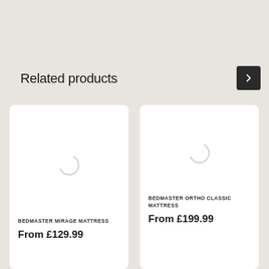Related products
[Figure (other): Right navigation arrow button (dark square with chevron)]
[Figure (other): Product card for Bedmaster Mirage Mattress showing a loading spinner image placeholder, product name 'BEDMASTER MIRAGE MATTRESS', and price 'From £129.99']
[Figure (other): Product card for Bedmaster Ortho Classic Mattress showing a loading spinner image placeholder, product name 'BEDMASTER ORTHO CLASSIC MATTRESS', and price 'From £199.99']